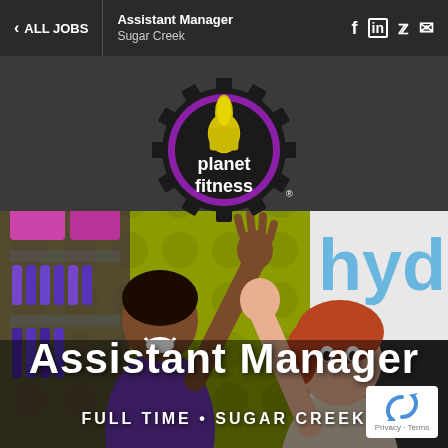< ALL JOBS | Assistant Manager | Sugar Creek
[Figure (logo): Planet Fitness logo — black gear shape with yellow thumbs-up hand and white text 'planet fitness' in purple circle]
[Figure (photo): Two Planet Fitness employees in purple uniforms doing a high-five inside a Planet Fitness gym with yellow/green merchandise wall in background and 'hydr' text visible on right]
Assistant Manager
FULL TIME • SUGAR CREEK